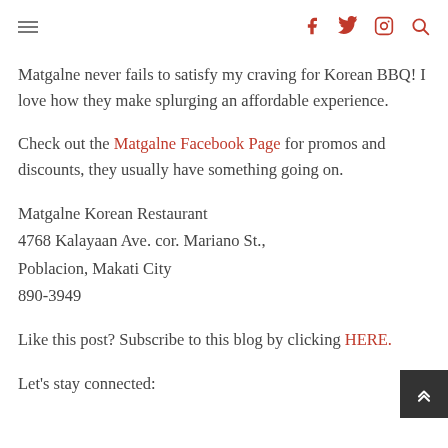≡  [social icons: facebook, twitter, instagram, search]
Matgalne never fails to satisfy my craving for Korean BBQ! I love how they make splurging an affordable experience.
Check out the Matgalne Facebook Page for promos and discounts, they usually have something going on.
Matgalne Korean Restaurant
4768 Kalayaan Ave. cor. Mariano St., Poblacion, Makati City
890-3949
Like this post? Subscribe to this blog by clicking HERE.
Let's stay connected: